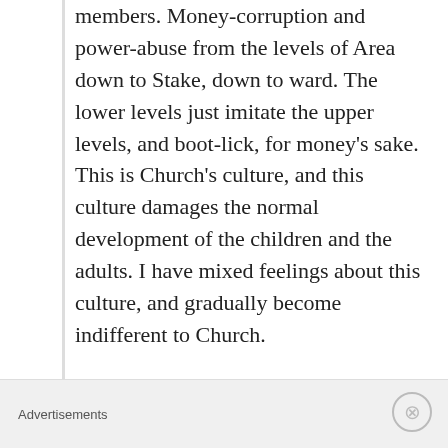members. Money-corruption and power-abuse from the levels of Area down to Stake, down to ward. The lower levels just imitate the upper levels, and boot-lick, for money's sake. This is Church's culture, and this culture damages the normal development of the children and the adults. I have mixed feelings about this culture, and gradually become indifferent to Church.
★ Liked by 1 person
defenderoftruth
November 27, 2018 at 11:49 am
Your arguments are so full of fallacies, its
Advertisements